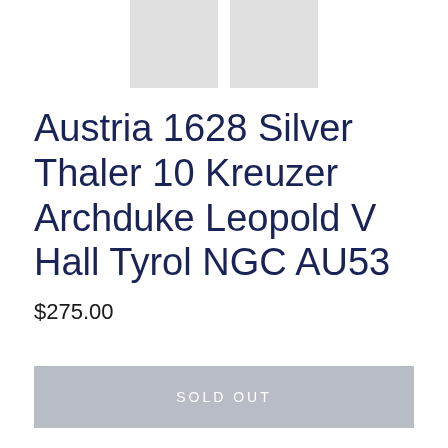[Figure (photo): Two gray placeholder thumbnail images of a coin product]
Austria 1628 Silver Thaler 10 Kreuzer Archduke Leopold V Hall Tyrol NGC AU53
$275.00
SOLD OUT